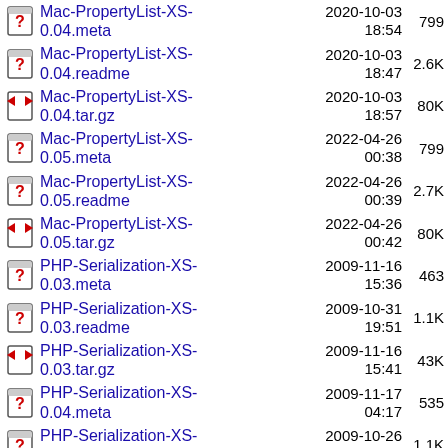Mac-PropertyList-XS-0.04.meta  2020-10-03 18:54  799
Mac-PropertyList-XS-0.04.readme  2020-10-03 18:47  2.6K
Mac-PropertyList-XS-0.04.tar.gz  2020-10-03 18:57  80K
Mac-PropertyList-XS-0.05.meta  2022-04-26 00:38  799
Mac-PropertyList-XS-0.05.readme  2022-04-26 00:39  2.7K
Mac-PropertyList-XS-0.05.tar.gz  2022-04-26 00:42  80K
PHP-Serialization-XS-0.03.meta  2009-11-16 15:36  463
PHP-Serialization-XS-0.03.readme  2009-10-31 19:51  1.1K
PHP-Serialization-XS-0.03.tar.gz  2009-11-16 15:41  43K
PHP-Serialization-XS-0.04.meta  2009-11-17 04:17  535
PHP-Serialization-XS-0.04.readme  2009-10-26 22:31  1.1K
PHP-Serialization-XS-  2009-11-17  (partial)